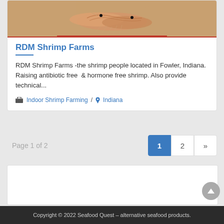[Figure (photo): Close-up photo of raw shrimp with long antennae on a light background, with a red border at the bottom of the image.]
RDM Shrimp Farms
RDM Shrimp Farms -the shrimp people located in Fowler, Indiana. Raising antibiotic free  & hormone free shrimp. Also provide technical...
Indoor Shrimp Farming / Indiana
Page 1 of 2
Copyright © 2022 Seafood Quest – alternative seafood products.